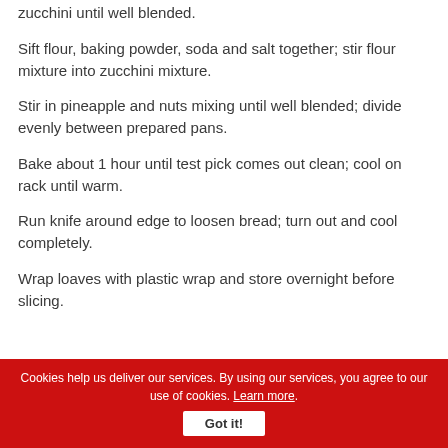zucchini until well blended.
Sift flour, baking powder, soda and salt together; stir flour mixture into zucchini mixture.
Stir in pineapple and nuts mixing until well blended; divide evenly between prepared pans.
Bake about 1 hour until test pick comes out clean; cool on rack until warm.
Run knife around edge to loosen bread; turn out and cool completely.
Wrap loaves with plastic wrap and store overnight before slicing.
Cookies help us deliver our services. By using our services, you agree to our use of cookies. Learn more. Got it!